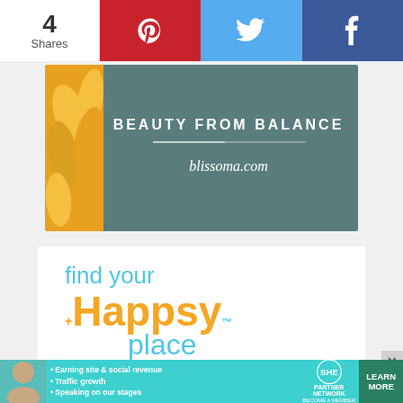4 Shares
[Figure (logo): Social share bar with Pinterest (red), Twitter (blue), Facebook (dark blue) icons]
[Figure (illustration): Blissoma ad banner: sunflower image on left, teal background with text 'BEAUTY FROM BALANCE' and 'blissoma.com']
[Figure (logo): Happsy ad: 'find your Happsy place' logo in teal and orange colors with trademark symbol]
[Figure (infographic): SHE Partner Network advertisement at bottom: Earning site & social revenue, Traffic growth, Speaking on our stages, LEARN MORE button]